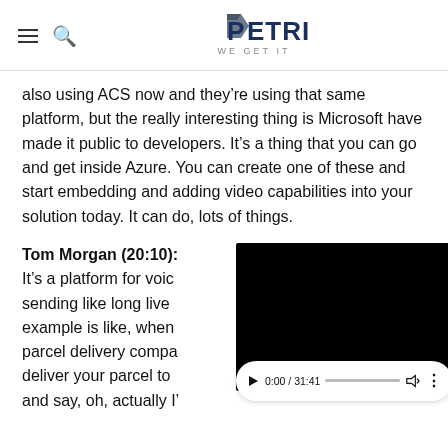PETRI WE GET IT
also using ACS now and they're using that same platform, but the really interesting thing is Microsoft have made it public to developers. It's a thing that you can go and get inside Azure. You can create one of these and start embedding and adding video capabilities into your solution today. It can do, lots of things.
Tom Morgan (20:10):
It's a platform for voic... sending like long live... example is like, when... parcel delivery compa... deliver your parcel to... and say, oh, actually I'...
[Figure (screenshot): Video player overlay showing black screen with controls: play button, time 0:00 / 31:41, progress bar, volume and more options buttons]